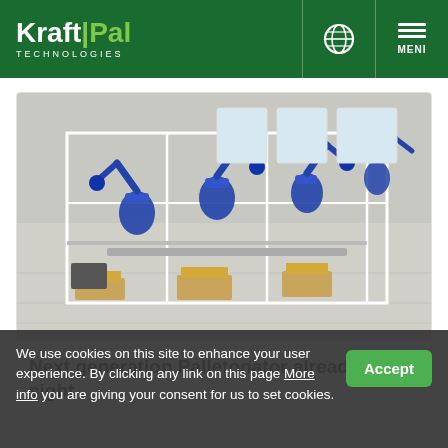KraftPal Technologies — Navigation header with globe icon and MENI menu
[Figure (illustration): 3D rendering of an industrial automated palletizing system with blue robotic arms arranged in a production line inside a white-framed enclosure, with cardboard boxes on pallets being processed.]
Next generation Palletonator already in sight
We use cookies on this site to enhance your user experience. By clicking any link on this page you are giving your consent for us to set cookies. More info